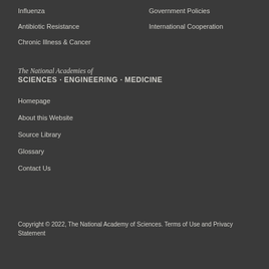Influenza
Antibiotic Resistance
Chronic Illness & Cancer
Government Policies
International Cooperation
[Figure (logo): The National Academies of Sciences, Engineering, Medicine logo with italic script and bold sans-serif text]
Homepage
About this Website
Source Library
Glossary
Contact Us
Copyright © 2022, The National Academy of Sciences. Terms of Use and Privacy Statement